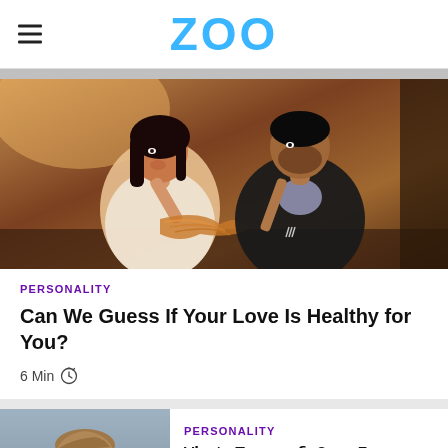ZOO
[Figure (photo): Couple eating spaghetti together at a restaurant, woman with dark hair in white dress, man in dark suit, both pulling noodles with forks]
PERSONALITY
Can We Guess If Your Love Is Healthy for You?
6 Min
[Figure (photo): Young man with styled hair looking intensely at camera, hands near face]
PERSONALITY
What Type of Guy Is Meant for You?